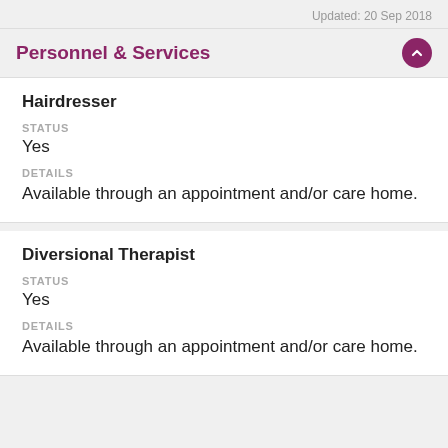Updated: 20 Sep 2018
Personnel & Services
Hairdresser
STATUS
Yes
DETAILS
Available through an appointment and/or care home.
Diversional Therapist
STATUS
Yes
DETAILS
Available through an appointment and/or care home.